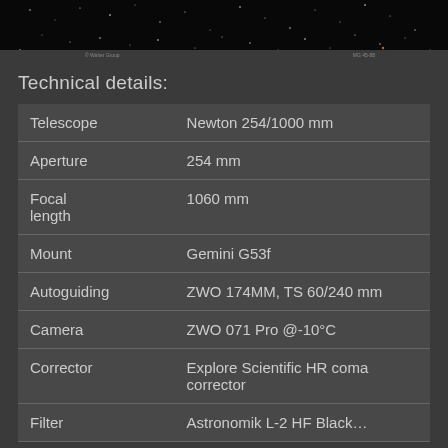[Figure (photo): Star field image, dark sky with many stars visible, cropped at top of page]
Technical details:
| Telescope | Newton 254/1000 mm |
| Aperture | 254 mm |
| Focal length | 1060 mm |
| Mount | Gemini G53f |
| Autoguiding | ZWO 174MM, TS 60/240 mm |
| Camera | ZWO 071 Pro @-10°C |
| Corrector | Explore Scientific HR coma corrector |
| Filter | Astronomik L-2 HF Black… |